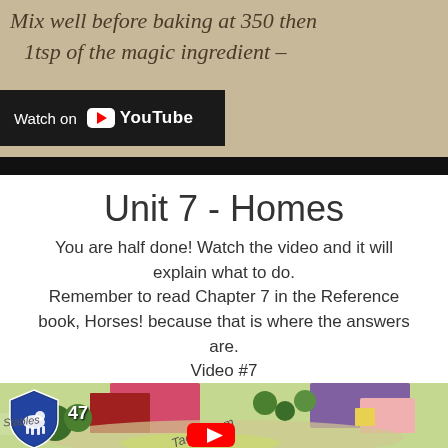[Figure (screenshot): Top portion of a YouTube video thumbnail showing handwritten recipe text 'Mix well before baking at 350 then 1tsp of the magic ingredient -' on beige paper background, with a YouTube 'Watch on' bar overlay at bottom left]
Unit 7 - Homes
You are half done! Watch the video and it will explain what to do.
Remember to read Chapter 7 in the Reference book, Horses! because that is where the answers are.
Video #7
[Figure (screenshot): Bottom portion of a YouTube video showing a colorful illustrated map with buildings, trees, and roads. Visible elements include a shield/crest logo with a horse, number 47, 'Stables' text, 'Tack Room' label, and a partial YouTube play button at the bottom.]